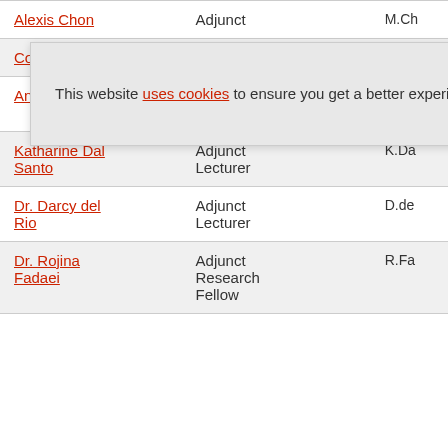| Name | Role |  |  |
| --- | --- | --- | --- |
| Alexis Chon | Adjunct |  | M.Ch |
| Coopersmith | Lecturer |  |  |
| Anna Dai | Adjunct Lecturer |  | A.Da |
| Katharine Dal Santo | Adjunct Lecturer |  | K.Da |
| Dr. Darcy del Rio | Adjunct Lecturer |  | D.de |
| Dr. Rojina Fadaei | Adjunct Research Fellow |  | R.Fa |
This website uses cookies to ensure you get a better experience. Allow Cookies